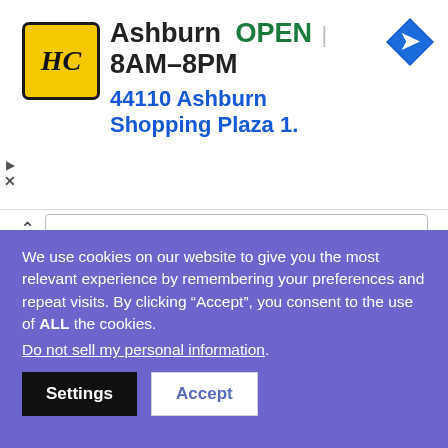[Figure (screenshot): Ad banner for Hannaford grocery store showing logo, Ashburn location, OPEN status with hours 8AM-8PM, address 44110 Ashburn Shopping Plaza 1., and a navigation icon]
each day.  ~ Bernie Siegel
#26
“Peace is the result of retraining your mind to process life as it is, rather than as you think it should be.” ~ Wayne Dyer
We use cookies on our website to give you the most relevant experience by remembering your preferences and repeat visits. By clicking “Accept”, you consent to the use of ALL the cookies.
Do not sell my personal information.